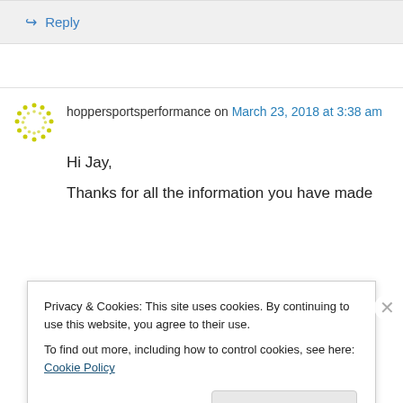↪ Reply
hoppersportsperformance on March 23, 2018 at 3:38 am
Hi Jay,
Thanks for all the information you have made
Privacy & Cookies: This site uses cookies. By continuing to use this website, you agree to their use.
To find out more, including how to control cookies, see here: Cookie Policy
Close and accept